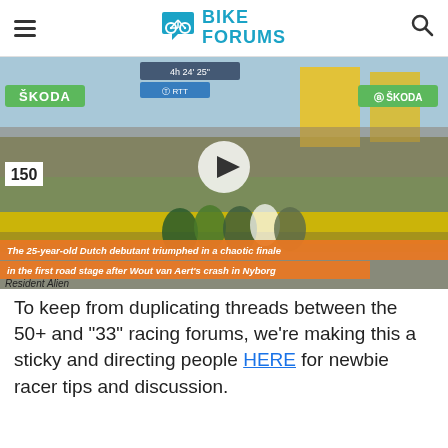Bike Forums
[Figure (screenshot): Video thumbnail of a cycling road race finish with crowds lining the barriers. Overlays include SKODA sponsor banners in green, a play button, and an orange caption bar reading 'The 25-year-old Dutch debutant triumphed in a chaotic finale in the first road stage after Wout van Aert's crash in Nyborg'. Bottom-left text: 'Resident Alien'.]
To keep from duplicating threads between the 50+ and "33" racing forums, we're making this a sticky and directing people HERE for newbie racer tips and discussion.